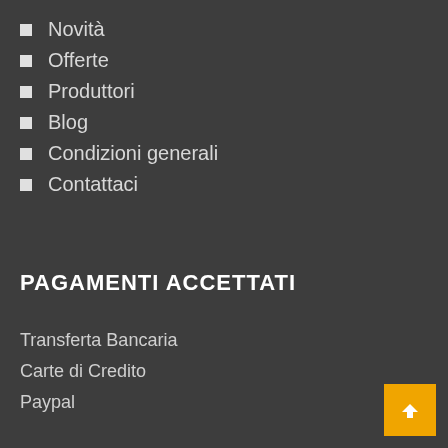Novità
Offerte
Produttori
Blog
Condizioni generali
Contattaci
PAGAMENTI ACCETTATI
Transferta Bancaria
Carte di Credito
Paypal